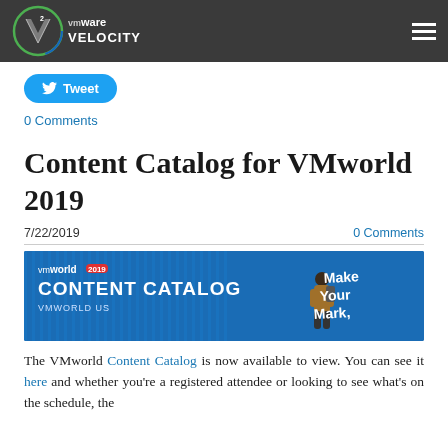VMware Velocity
Tweet
0 Comments
Content Catalog for VMworld 2019
7/22/2019    0 Comments
[Figure (photo): VMworld 2019 Content Catalog banner image with blue striped background, text reading CONTENT CATALOG VMWORLD US and Make Your Mark, with a person walking]
The VMworld Content Catalog is now available to view. You can see it here and whether you're a registered attendee or looking to see what's on the schedule, the